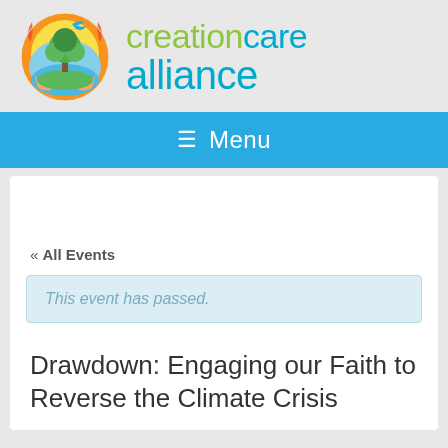[Figure (logo): Creation Care Alliance logo — circular emblem with a tree, bird, sun and hands, alongside the text 'creationcare alliance' in green and blue]
Menu
« All Events
This event has passed.
Drawdown: Engaging our Faith to Reverse the Climate Crisis